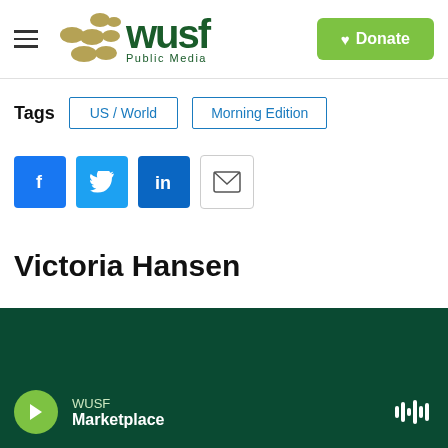WUSF Public Media — Donate
Tags  US / World  Morning Edition
[Figure (infographic): Social sharing buttons: Facebook (blue), Twitter (blue), LinkedIn (blue), Email (white with border)]
Victoria Hansen
WUSF Marketplace